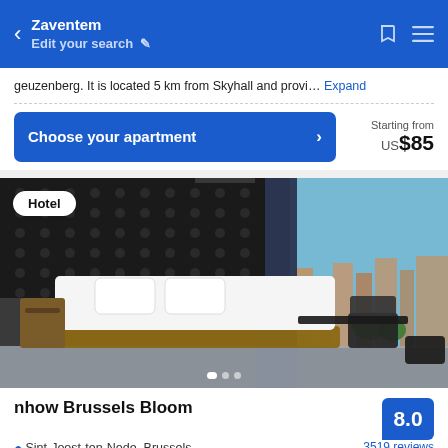Zaventem — Edit your search
geuzenberg. It is located 5 km from Skyhall and provi… Expand
Choose your apartment ›   Starting from US$85
[Figure (photo): Hotel room photo showing a double bed with white linen, black textured wall headboard, wooden nightstand, and large windows overlooking Brussels cityscape. Badge reads 'Hotel'.]
nhow Brussels Bloom
Sint-Joost-ten-Node, Brussels
5.02 mi from center
Score: 8.0 — 3519 reviews
★★★★ (4 stars)